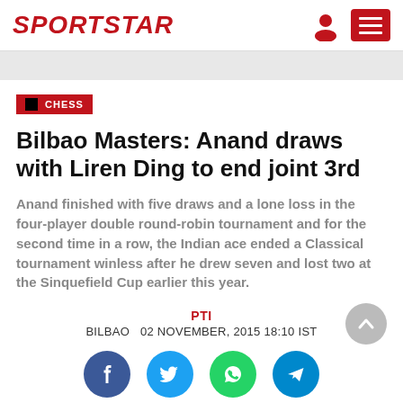SPORTSTAR
CHESS
Bilbao Masters: Anand draws with Liren Ding to end joint 3rd
Anand finished with five draws and a lone loss in the four-player double round-robin tournament and for the second time in a row, the Indian ace ended a Classical tournament winless after he drew seven and lost two at the Sinquefield Cup earlier this year.
PTI
BILBAO   02 NOVEMBER, 2015 18:10 IST